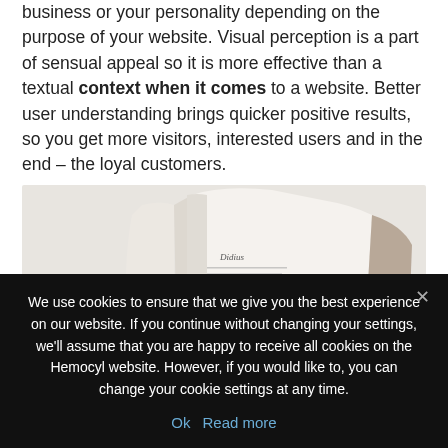business or your personality depending on the purpose of your website. Visual perception is a part of sensual appeal so it is more effective than a textual context when it comes to a website. Better user understanding brings quicker positive results, so you get more visitors, interested users and in the end – the loyal customers.
[Figure (photo): A person's hands holding open a book, with the page showing the title 'Didius' and some text content beneath it, viewed from above on a light background.]
We use cookies to ensure that we give you the best experience on our website. If you continue without changing your settings, we'll assume that you are happy to receive all cookies on the Hemocyl website. However, if you would like to, you can change your cookie settings at any time.
Ok   Read more